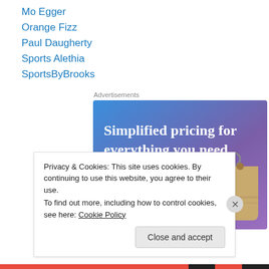Mo Egger
Orange Fizz
Paul Daugherty
Sports Alethia
SportsByBrooks
Advertisements
[Figure (illustration): Advertisement banner with blue/purple gradient background. Large white text reads 'Simplified pricing for everything you need.' with a pink 'Build Your Website' button and a price tag graphic on the right.]
Privacy & Cookies: This site uses cookies. By continuing to use this website, you agree to their use.
To find out more, including how to control cookies, see here: Cookie Policy
Close and accept